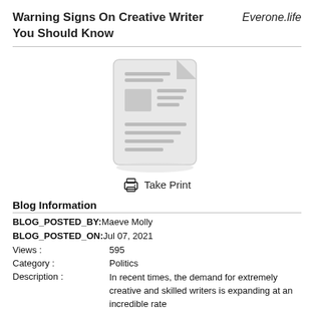Warning Signs On Creative Writer You Should Know
Everone.life
[Figure (illustration): A gray document/article placeholder icon showing a stylized paper with lines of text and an image block]
Take Print
Blog Information
BLOG_POSTED_BY:Maeve Molly
BLOG_POSTED_ON:Jul 07, 2021
Views : 595
Category : Politics
Description : In recent times, the demand for extremely creative and skilled writers is expanding at an incredible rate